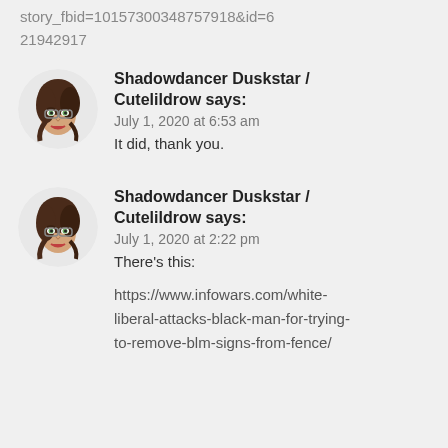story_fbid=101573003487579182&id=621942917
Shadowdancer Duskstar / Cutelildrow says:
July 1, 2020 at 6:53 am
It did, thank you.
Shadowdancer Duskstar / Cutelildrow says:
July 1, 2020 at 2:22 pm
There's this:

https://www.infowars.com/white-liberal-attacks-black-man-for-trying-to-remove-blm-signs-from-fence/